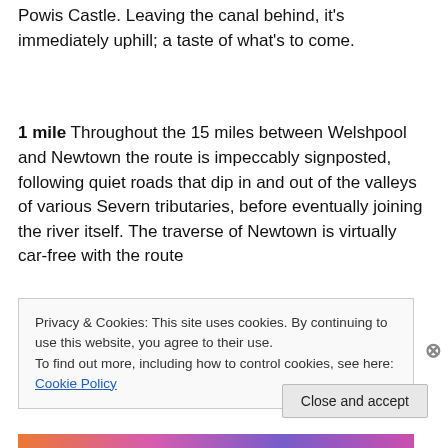Powis Castle. Leaving the canal behind, it's immediately uphill; a taste of what's to come.
1 mile Throughout the 15 miles between Welshpool and Newtown the route is impeccably signposted, following quiet roads that dip in and out of the valleys of various Severn tributaries, before eventually joining the river itself. The traverse of Newtown is virtually car-free with the route
Privacy & Cookies: This site uses cookies. By continuing to use this website, you agree to their use.
To find out more, including how to control cookies, see here: Cookie Policy
Close and accept